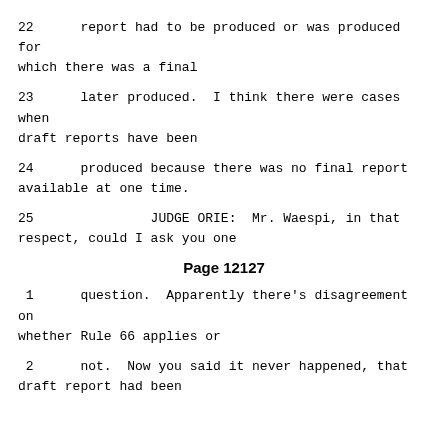22     report had to be produced or was produced for which there was a final
23     later produced.  I think there were cases when draft reports have been
24     produced because there was no final report available at one time.
25              JUDGE ORIE:  Mr. Waespi, in that respect, could I ask you one
Page 12127
1     question.  Apparently there's disagreement on whether Rule 66 applies or
2     not.  Now you said it never happened, that draft report had been